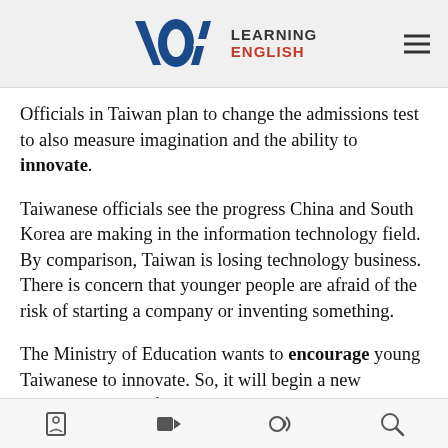VOA Learning English
Officials in Taiwan plan to change the admissions test to also measure imagination and the ability to innovate.
Taiwanese officials see the progress China and South Korea are making in the information technology field. By comparison, Taiwan is losing technology business. There is concern that younger people are afraid of the risk of starting a company or inventing something.
The Ministry of Education wants to encourage young Taiwanese to innovate. So, it will begin a new selection process for university students. They hope the best schools will start to accept people with new business
Navigation icons: bookmarks, video, audio, search